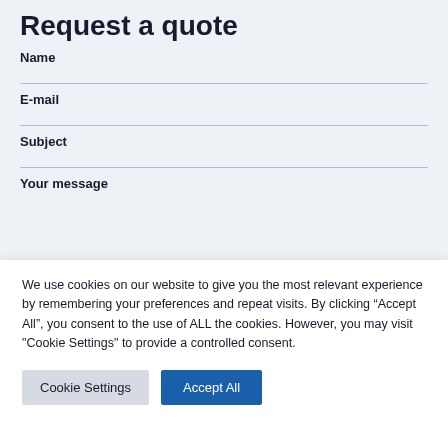Request a quote
Name
E-mail
Subject
Your message
We use cookies on our website to give you the most relevant experience by remembering your preferences and repeat visits. By clicking “Accept All”, you consent to the use of ALL the cookies. However, you may visit "Cookie Settings" to provide a controlled consent.